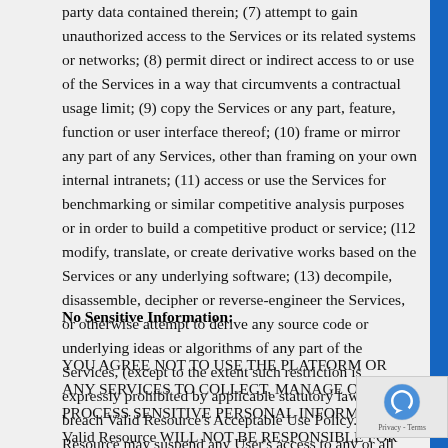party data contained therein; (7) attempt to gain unauthorized access to the Services or its related systems or networks; (8) permit direct or indirect access to or use of the Services in a way that circumvents a contractual usage limit; (9) copy the Services or any part, feature, function or user interface thereof; (10) frame or mirror any part of any Services, other than framing on your own internal intranets; (11) access or use the Services for benchmarking or similar competitive analysis purposes or in order to build a competitive product or service; (l12 modify, translate, or create derivative works based on the Services or any underlying software; (13) decompile, disassemble, decipher or reverse-engineer the Services, or otherwise attempt to derive any source code or underlying ideas or algorithms of any part of the Services, (except to the extent such restriction is expressly prohibited by applicable statutory law) or (14) breach Valid Resource's Acceptable Use Policy. Valid Resource may suspend any User's access to any or all subscription Services without notice in the event of a violation of this Section.
No Sensitive Information:
YOU AGREE NOT TO USE THE PLATFORM OR ANY SERVICES TO COLLECT, MANAGE OR PROCESS SENSITIVE PERSONAL INFORMATION. Valid Resource WILL NOT BE RESPONSIBLE FOR ANY LIABILITY RESULTING FROM YOUR